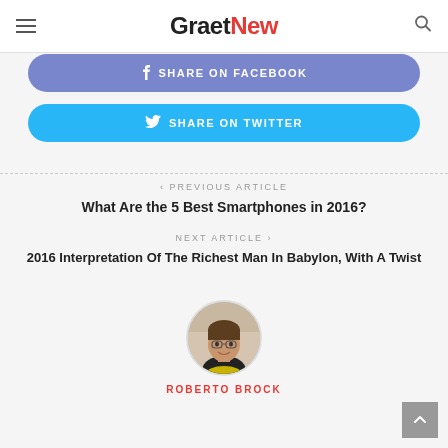GraetNew
SHARE ON FACEBOOK
SHARE ON TWITTER
< PREVIOUS ARTICLE
What Are the 5 Best Smartphones in 2016?
NEXT ARTICLE >
2016 Interpretation Of The Richest Man In Babylon, With A Twist
[Figure (photo): Round author avatar photo of Roberto Brock]
ROBERTO BROCK